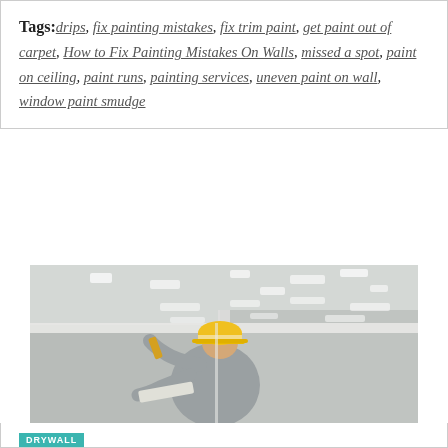Tags: drips, fix painting mistakes, fix trim paint, get paint out of carpet, How to Fix Painting Mistakes On Walls, missed a spot, paint on ceiling, paint runs, painting services, uneven paint on wall, window paint smudge
[Figure (photo): A worker wearing a yellow hard hat and grey long-sleeve shirt applying plaster or joint compound to a grey drywall wall using a spatula/trowel, with the ceiling visible above showing multiple patched spots.]
DRYWALL